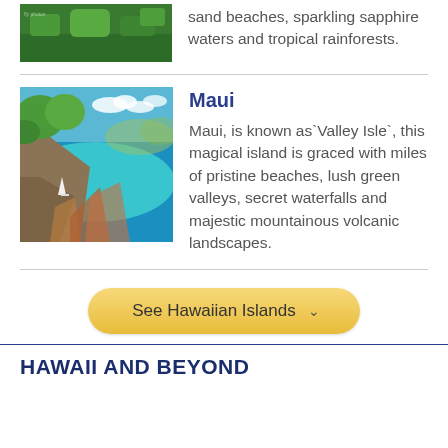sand beaches, sparkling sapphire waters and tropical rainforests.
[Figure (photo): Aerial view of tropical coastline with lush green vegetation]
Maui
Maui, is known as`Valley Isle`, this magical island is graced with miles of pristine beaches, lush green valleys, secret waterfalls and majestic mountainous volcanic landscapes.
[Figure (photo): Aerial view of Maui coastline with turquoise water, rocky shores, sailboat]
See Hawaiian Islands
HAWAII AND BEYOND